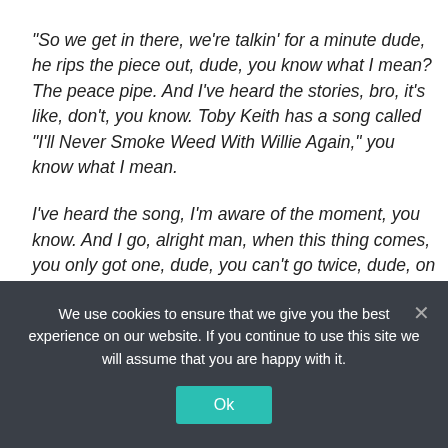“So we get in there, we’re talkin’ for a minute dude, he rips the piece out, dude, you know what I mean? The peace pipe. And I’ve heard the stories, bro, it’s like, don’t, you know. Toby Keith has a song called “I’ll Never Smoke Weed With Willie Again,” you know what I mean.
I’ve heard the song, I’m aware of the moment, you know. And I go, alright man, when this thing comes, you only got one, dude, you can’t go twice, dude, on this deal.”
A couple more of Willie’s friends start showing up at this point, and as it comes around the table again, Luke made a massive error...
He hit it again. HARD.
We use cookies to ensure that we give you the best experience on our website. If you continue to use this site we will assume that you are happy with it.